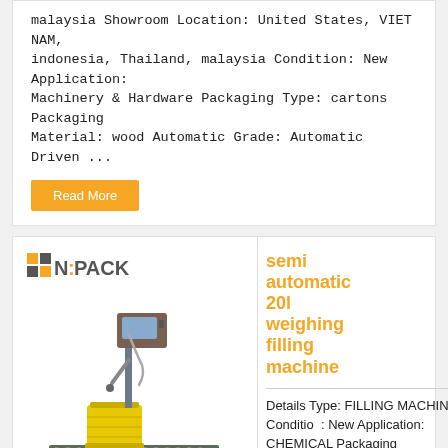malaysia Showroom Location: United States, VIET NAM, indonesia, Thailand, malaysia Condition: New Application: Machinery & Hardware Packaging Type: cartons Packaging Material: wood Automatic Grade: Automatic Driven ...
Read More
[Figure (logo): N:PACK logo with orange grid squares and bold sans-serif text]
[Figure (photo): Semi automatic 20L weighing filling machine on a roller conveyor table with a yellow bucket being filled]
semi automatic 20l weighing filling machine
Details Type: FILLING MACHINE Condition: New Application: CHEMICAL Packaging...